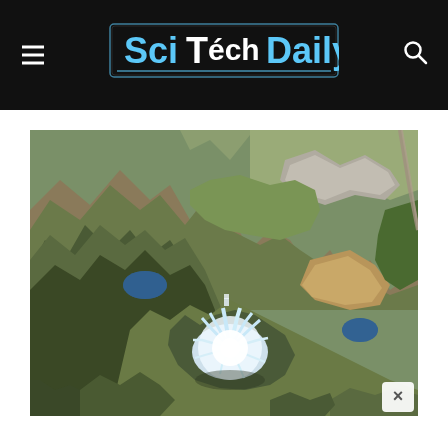SciTechDaily
[Figure (photo): Satellite aerial view of mountainous terrain with a snow-capped volcanic peak at center-bottom, showing diverse landscape including forests, lakes, urban areas, and surrounding mountain ranges. A prominent white explosive or eruption plume is visible at the mountain summit.]